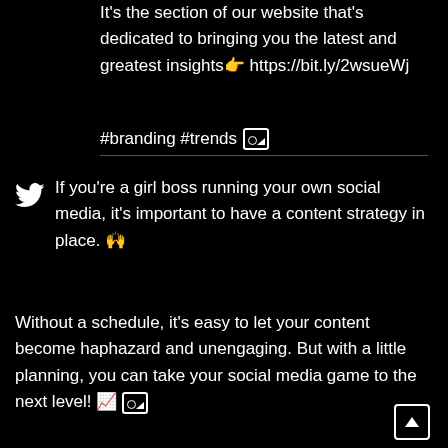It's the section of our website that's dedicated to bringing you the latest and greatest insights👉 https://bit.ly/2wsueWj
#branding #trends 🖼️
If you're a girl boss running your own social media, it's important to have a content strategy in place. 🙌
Without a schedule, it's easy to let your content become haphazard and unengaging. But with a little planning, you can take your social media game to the next level! 📈 🖼️